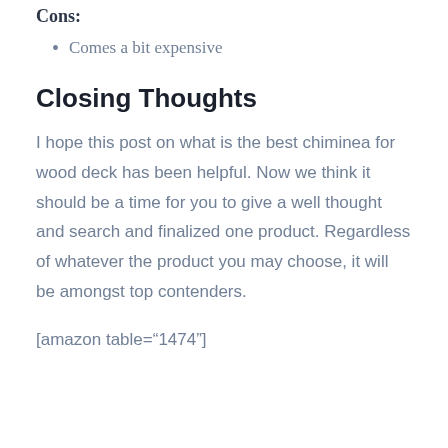Cons:
Comes a bit expensive
Closing Thoughts
I hope this post on what is the best chiminea for wood deck has been helpful. Now we think it should be a time for you to give a well thought and search and finalized one product. Regardless of whatever the product you may choose, it will be amongst top contenders.
[amazon table="1474"]